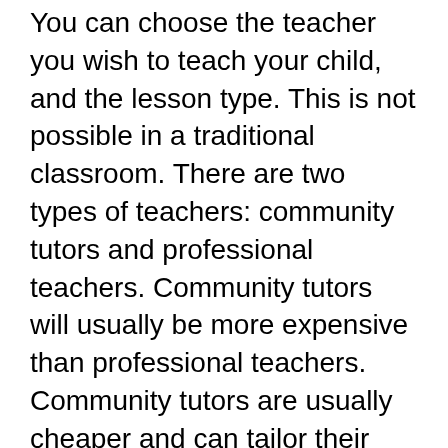You can choose the teacher you wish to teach your child, and the lesson type. This is not possible in a traditional classroom. There are two types of teachers: community tutors and professional teachers. Community tutors will usually be more expensive than professional teachers. Community tutors are usually cheaper and can tailor their lessons to the student's needs.
When you create your lesson, you will be able see the time and date. You can choose a different teacher in some cases. Teachers can also choose when to teach the lesson, and the calendar will reflect their availability according to the time zone you choose. This allows you plan your time according to your needs. Booking a lesson can be difficult.